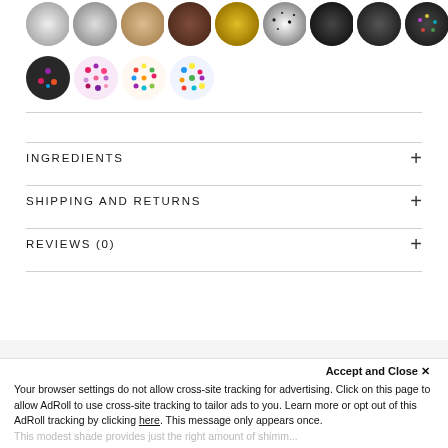[Figure (illustration): Row of circular glitter/sequin swatches in various colors: silver sparkle, silver glitter, beige/nude glitter, brown glitter, gold glitter, black and white confetti, dark charcoal glitter, dark silver glitter, multicolor glitter]
[Figure (illustration): Second row of four circular glitter swatches: dark multicolor glitter, pink and purple confetti, multicolor bright confetti, multicolor blue/yellow confetti]
INGREDIENTS
SHIPPING AND RETURNS
REVIEWS (0)
JIN'S TIP
Accept and Close ✕
Your browser settings do not allow cross-site tracking for advertising. Click on this page to allow AdRoll to use cross-site tracking to tailor ads to you. Learn more or opt out of this AdRoll tracking by clicking here. This message only appears once.
This modest shade provides just the right amount of shimmer...